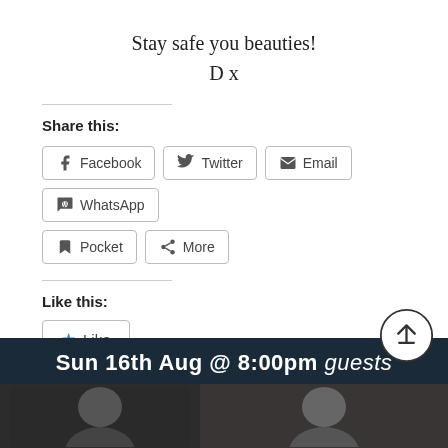Stay safe you beauties!
D x
Share this:
Facebook | Twitter | Email | WhatsApp | Pocket | More
Like this:
Like
Be the first to like this.
Leave a comment
[Figure (screenshot): Banner image showing 'Sun 16th Aug @ 8:00pm guests' on dark background with two person thumbnails below]